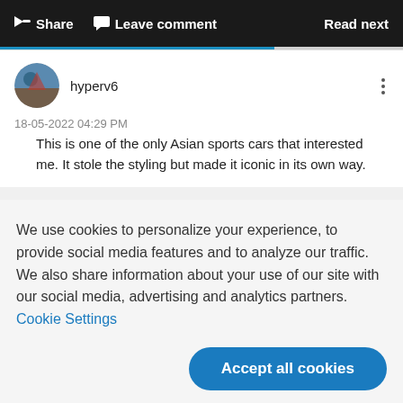Share  Leave comment  Read next
hyperv6
18-05-2022 04:29 PM
This is one of the only Asian sports cars that interested me. It stole the styling but made it iconic in its own way.
We use cookies to personalize your experience, to provide social media features and to analyze our traffic. We also share information about your use of our site with our social media, advertising and analytics partners. Cookie Settings
Accept all cookies